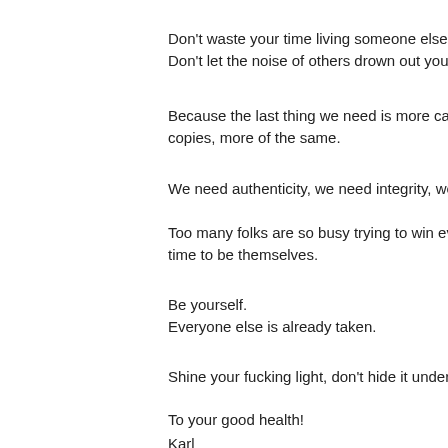Don't waste your time living someone else's life.
Don't let the noise of others drown out your inn…
Because the last thing we need is more cardboa…
copies, more of the same.
We need authenticity, we need integrity, we nee…
Too many folks are so busy trying to win everyo…
time to be themselves.
Be yourself.
Everyone else is already taken.
Shine your fucking light, don't hide it under a bu…
To your good health!
Karl